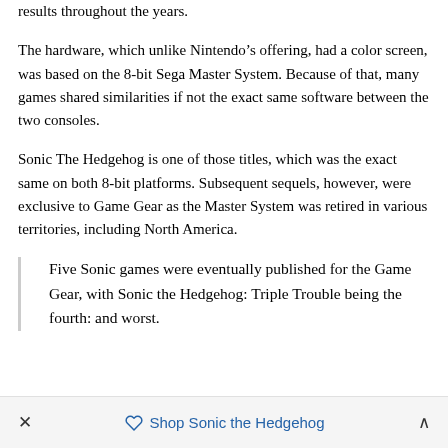results throughout the years.
The hardware, which unlike Nintendo’s offering, had a color screen, was based on the 8-bit Sega Master System. Because of that, many games shared similarities if not the exact same software between the two consoles.
Sonic The Hedgehog is one of those titles, which was the exact same on both 8-bit platforms. Subsequent sequels, however, were exclusive to Game Gear as the Master System was retired in various territories, including North America.
Five Sonic games were eventually published for the Game Gear, with Sonic the Hedgehog: Triple Trouble being the fourth: and worst.
×   Shop Sonic the Hedgehog   ∧